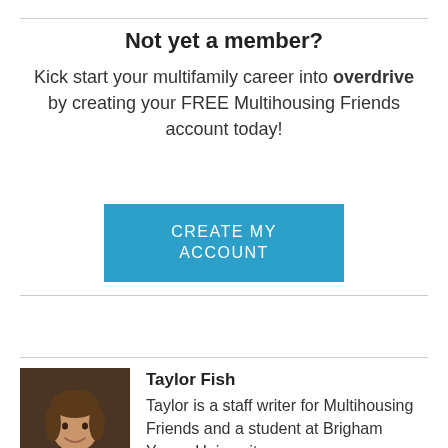Not yet a member?
Kick start your multifamily career into overdrive by creating your FREE Multihousing Friends account today!
[Figure (other): Blue call-to-action button labeled CREATE MY ACCOUNT]
[Figure (photo): Headshot photo of Taylor Fish, a young woman smiling, wearing a pink top, with a dark background]
Taylor Fish
Taylor is a staff writer for Multihousing Friends and a student at Brigham Young University.